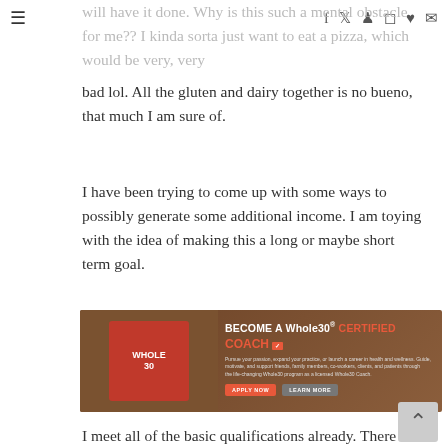☰  [social icons: f  t  p  ig  heart  mail]
will have it done. Why is this such a mental obstacle for me?? I kinda sorta just want to eat a pizza, which would be very, very bad lol. All the gluten and dairy together is no bueno, that much I am sure of.
I have been trying to come up with some ways to possibly generate some additional income. I am toying with the idea of making this a long or maybe short term goal.
[Figure (photo): Whole30 Certified Coach advertisement banner with book, coffee cup, and notebook on wooden table. Text reads 'BECOME A Whole30® CERTIFIED COACH' with Apply Now and Learn More buttons.]
I meet all of the basic qualifications already. There is a 4 part testing track, interviews, mentoring program and of course an initial financial commitment. At the end you can coach with the power of the brand behind you, conduct FB groups, private coaching, meal planning, even grocery shopping with people